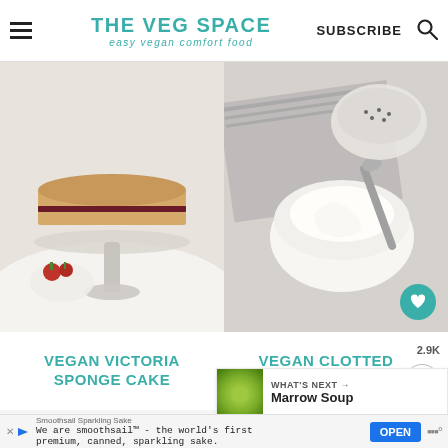THE VEG SPACE easy vegan comfort food | SUBSCRIBE
[Figure (photo): Vegan Victoria Sponge Cake on a glass cake stand with strawberries]
[Figure (photo): Vegan Clotted Cream in a glass bowl with a spoon]
VEGAN VICTORIA SPONGE CAKE
VEGAN CLOTTED CREAM
2.9K
WHAT'S NEXT → Marrow Soup
Smoothsail Sparkling Sake We are smoothsail™ - the world's first premium, canned, sparkling sake. OPEN